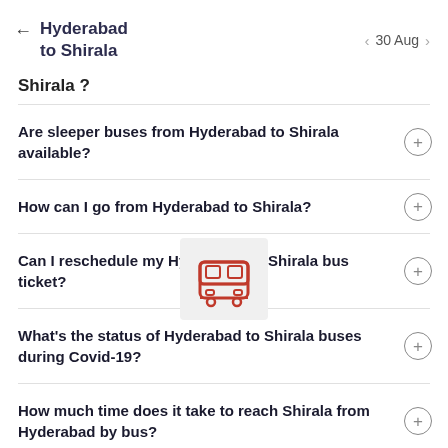Hyderabad to Shirala | 30 Aug
Shirala ?
Are sleeper buses from Hyderabad to Shirala available?
How can I go from Hyderabad to Shirala?
Can I reschedule my Hyderabad to Shirala bus ticket?
What's the status of Hyderabad to Shirala buses during Covid-19?
How much time does it take to reach Shirala from Hyderabad by bus?